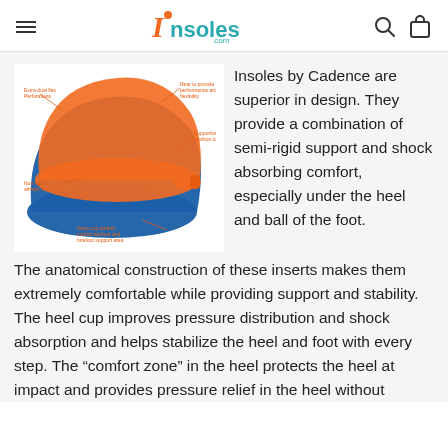Insoles.com
[Figure (photo): Orange and blue Cadence insoles shown in an exploded/layered view with annotation labels pointing to various features of the insole design.]
Insoles by Cadence are superior in design. They provide a combination of semi-rigid support and shock absorbing comfort, especially under the heel and ball of the foot. The anatomical construction of these inserts makes them extremely comfortable while providing support and stability. The heel cup improves pressure distribution and shock absorption and helps stabilize the heel and foot with every step. The “comfort zone” in the heel protects the heel at impact and provides pressure relief in the heel without